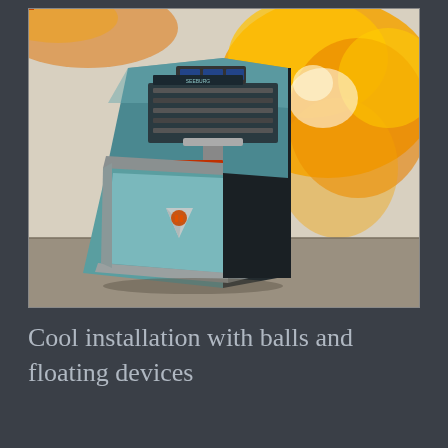[Figure (photo): A vintage jukebox (teal/chrome/black color scheme with a V-shaped emblem on the front) positioned in the corner of a room. The wall behind it features an abstract orange and yellow spray-paint or airbrushed artwork. The machine has a glass-covered top section showing record mechanisms and a lower cabinet section.]
Cool installation with balls and floating devices